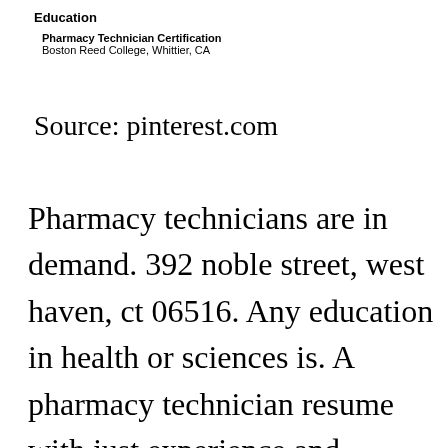Education
Pharmacy Technician Certification
Boston Reed College, Whittier, CA
Source: pinterest.com
Pharmacy technicians are in demand. 392 noble street, west haven, ct 06516. Any education in health or sciences is. A pharmacy technician resume with just experience and education is ailing. Create and manage staff schedules, factoring in all employee◆s needs and availabilities to ensure full coverage on all shifts while